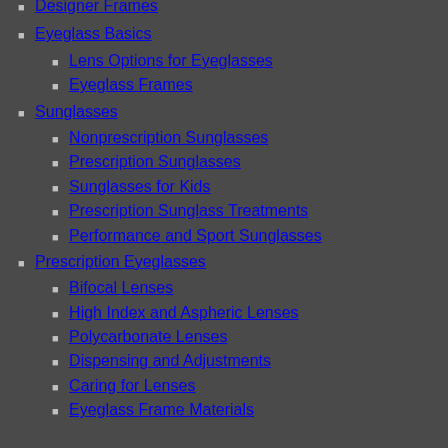Designer Frames
Eyeglass Basics
Lens Options for Eyeglasses
Eyeglass Frames
Sunglasses
Nonprescription Sunglasses
Prescription Sunglasses
Sunglasses for Kids
Prescription Sunglass Treatments
Performance and Sport Sunglasses
Prescription Eyeglasses
Bifocal Lenses
High Index and Aspheric Lenses
Polycarbonate Lenses
Dispensing and Adjustments
Caring for Lenses
Eyeglass Frame Materials